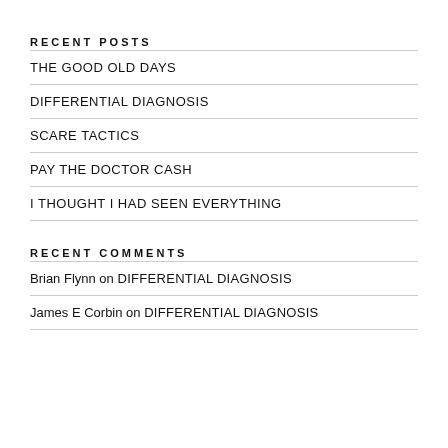RECENT POSTS
THE GOOD OLD DAYS
DIFFERENTIAL DIAGNOSIS
SCARE TACTICS
PAY THE DOCTOR CASH
I THOUGHT I HAD SEEN EVERYTHING
RECENT COMMENTS
Brian Flynn on DIFFERENTIAL DIAGNOSIS
James E Corbin on DIFFERENTIAL DIAGNOSIS